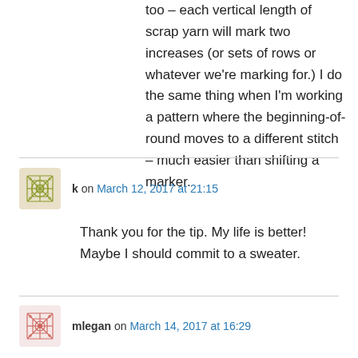too – each vertical length of scrap yarn will mark two increases (or sets of rows or whatever we're marking for.) I do the same thing when I'm working a pattern where the beginning-of-round moves to a different stitch – much easier than shifting a marker.
k on March 12, 2017 at 21:15
Thank you for the tip. My life is better! Maybe I should commit to a sweater.
mlegan on March 14, 2017 at 16:29
I put a cluster of markers of the correct number at the first increase, then take one out and put it